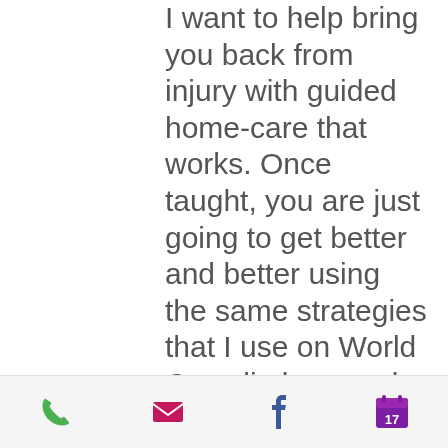I want to help bring you back from injury with guided home-care that works. Once taught, you are just going to get better and better using the same strategies that I use on World Cup climbers and some of Colorados best boulderers, crack climbers and USAClimbing competitors.
[phone] [email] [facebook] [calendar]